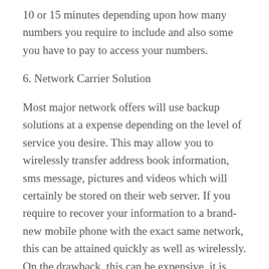10 or 15 minutes depending upon how many numbers you require to include and also some you have to pay to access your numbers.
6. Network Carrier Solution
Most major network offers will use backup solutions at a expense depending on the level of service you desire. This may allow you to wirelessly transfer address book information, sms message, pictures and videos which will certainly be stored on their web server. If you require to recover your information to a brand-new mobile phone with the exact same network, this can be attained quickly as well as wirelessly. On the drawback, this can be expensive, it is likewise based on the sort of mobile